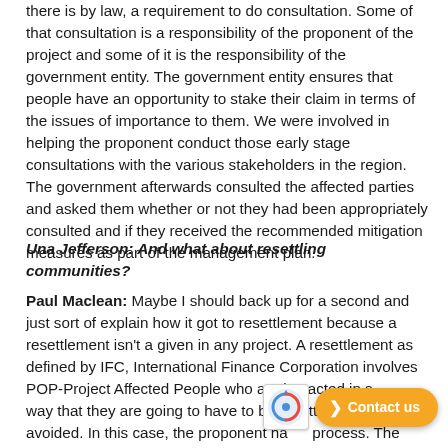there is by law, a requirement to do consultation. Some of that consultation is a responsibility of the proponent of the project and some of it is the responsibility of the government entity. The government entity ensures that people have an opportunity to stake their claim in terms of the issues of importance to them. We were involved in helping the proponent conduct those early stage consultations with the various stakeholders in the region. The government afterwards consulted the affected parties and asked them whether or not they had been appropriately consulted and if they received the recommended mitigation measures as part of the management plan.
Una Jefferson: And what about resettling communities?
Paul Maclean: Maybe I should back up for a second and just sort of explain how it got to resettlement because a resettlement isn't a given in any project. A resettlement as defined by IFC, International Finance Corporation involves POP-Project Affected People who are impacted in some way that they are going to have to be resettled and has to be avoided. In this case, the proponent has... process. The reason I mentioned the International Finance